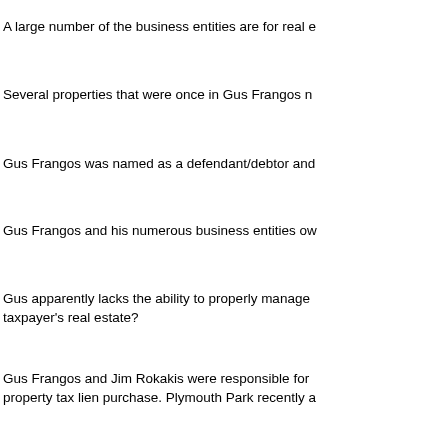A large number of the business entities are for real e
Several properties that were once in Gus Frangos n
Gus Frangos was named as a defendant/debtor and
Gus Frangos and his numerous business entities ow
Gus apparently lacks the ability to properly manage taxpayer's real estate?
Gus Frangos and Jim Rokakis were responsible for property tax lien purchase. Plymouth Park recently a
Plymouth Park filed thousands of tax foreclosures a was tax delinquent for well over one year on 88 of th
Enough of this already. KILL THE LANDBANK. Let t If an out-of-state investor wants to invest in this Gho
Thank you Dave Greenspan! Don't give up on this is
~~~~~~~~~~~~~~~~~~~~~~~~~~~~~~~~~~~~~~~~~~~~~~~~
Informed by a friend of a little known bit of Clevelan
In addition to being Mayor of Cleveland, Kucinich ha Courts for the Cleveland Municipal Court (1976-77); his seventh term as a Member of the United States
Kucinich, after being driven out of office as Mayor,